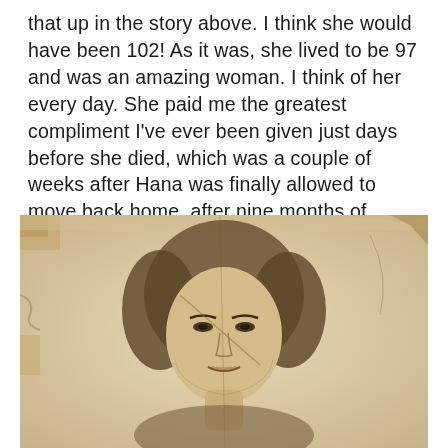that up in the story above. I think she would have been 102! As it was, she lived to be 97 and was an amazing woman. I think of her every day. She paid me the greatest compliment I've ever been given just days before she died, which was a couple of weeks after Hana was finally allowed to move back home, after nine months of being away, following her heart transplant. Part of me thinks she was waiting for that to happen before departing this earth.
[Figure (photo): A vintage, aged black-and-white photograph or pencil sketch portrait of a young woman with wavy/curled hair, looking slightly to the side. The photo/drawing appears old and worn with visible cracks and tears in the paper.]